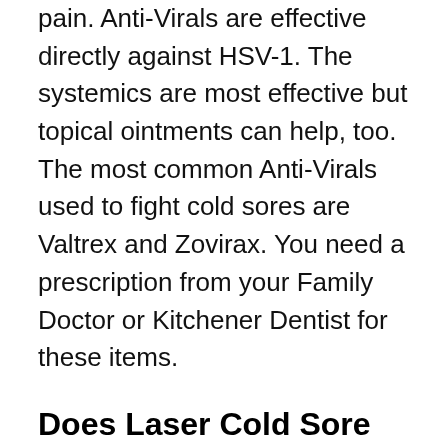pain. Anti-Virals are effective directly against HSV-1. The systemics are most effective but topical ointments can help, too. The most common Anti-Virals used to fight cold sores are Valtrex and Zovirax. You need a prescription from your Family Doctor or Kitchener Dentist for these items.
Does Laser Cold Sore Treatment work?
Laser treatment for Fever Blisters is controversial in terms of efficacy. Many Dentists support the use of laser treatment citing decreases in pain and faster healing as benefits. Theories exist that laser treatment